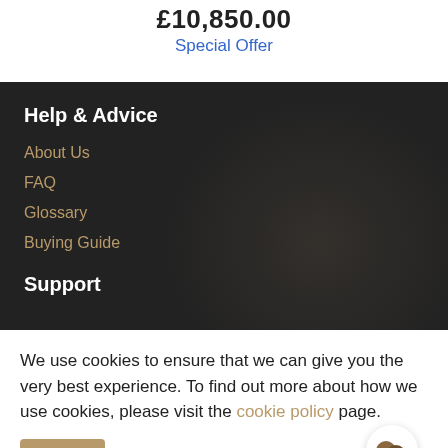£10,850.00
Special Offer
Help & Advice
About Us
FAQ
Glossary
Buying Guide
Support
We use cookies to ensure that we can give you the very best experience. To find out more about how we use cookies, please visit the cookie policy page.
Close